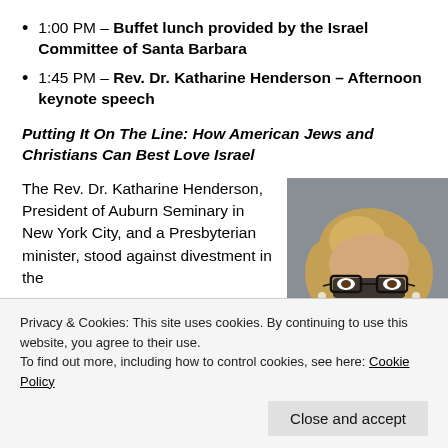1:00 PM – Buffet lunch provided by the Israel Committee of Santa Barbara
1:45 PM – Rev. Dr. Katharine Henderson – Afternoon keynote speech
Putting It On The Line: How American Jews and Christians Can Best Love Israel
The Rev. Dr. Katharine Henderson, President of Auburn Seminary in New York City, and a Presbyterian minister, stood against divestment in the
[Figure (photo): Headshot photo of Rev. Dr. Katharine Henderson, a woman with short blonde hair wearing glasses, smiling, against a gray background.]
Privacy & Cookies: This site uses cookies. By continuing to use this website, you agree to their use.
To find out more, including how to control cookies, see here: Cookie Policy
Close and accept